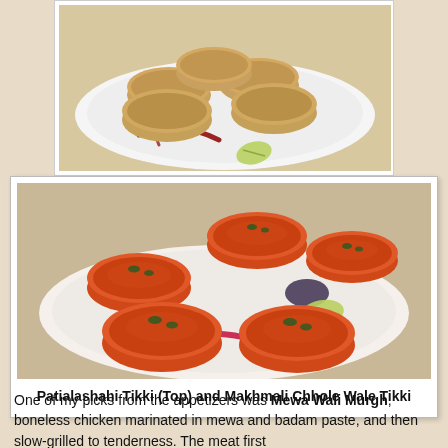[Figure (photo): Photo of Patialashahi Tikki – golden-brown round patties arranged on a white plate with lime wedges and berry sauce drizzle]
[Figure (photo): Photo of Makhmali Chhole Wale Tikki – orange-red round patties garnished with green herbs on a white plate with lime and berry sauce]
Patialashahi Tikki (Top) and Makhmali Chhole Wale Tikki
One of my picks from the appetizers was Mewa Wali Murgh, boneless chicken marinated in mewa and badam paste, and then slow-grilled to tenderness. The meat first